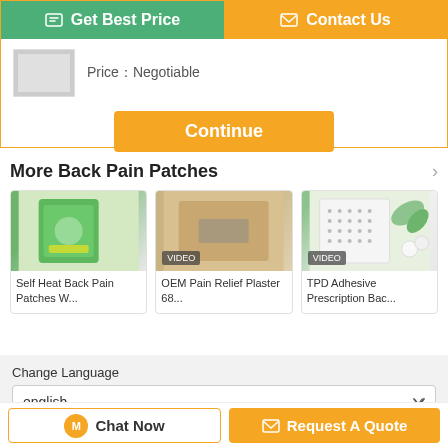[Figure (screenshot): Get Best Price button (green) and Contact Us button (orange) side by side at top]
Price：Negotiable
[Figure (photo): Product thumbnail image (gray placeholder)]
Continue
More  Back Pain Patches
[Figure (photo): Self Heat Back Pain Patches product image with green packaging]
Self Heat Back Pain Patches W...
[Figure (photo): OEM Pain Relief Plaster product image with VIDEO badge]
OEM Pain Relief Plaster 68...
[Figure (photo): TPD Adhesive Prescription Back patch product image with VIDEO badge]
TPD Adhesive Prescription Bac...
Change Language
english
Chat Now
Request A Quote